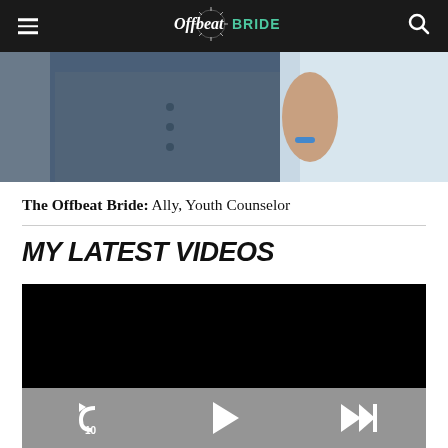Offbeat Bride
[Figure (photo): Close-up photo of a couple, showing a person in a blue vest/jacket on the left and a person in white on the right, cropped at torso level]
The Offbeat Bride: Ally, Youth Counselor
MY LATEST VIDEOS
[Figure (screenshot): Video player showing a black/dark screen with playback controls: rewind 10 seconds button, play button, and skip-to-next button]